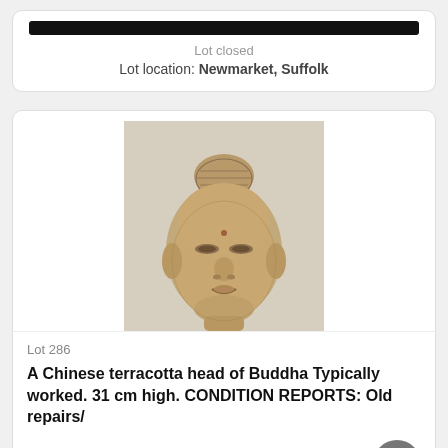Lot closed
Lot location: Newmarket, Suffolk
[Figure (photo): A Chinese terracotta head of Buddha sculpture, stone-coloured, photographed against a light grey background. The head shows curled hair in a ushnisha topknot, serene downcast eyes, and a calm expression.]
Lot 286
A Chinese terracotta head of Buddha Typically worked. 31 cm high. CONDITION REPORTS: Old repairs/
170 GBP
Closing bid